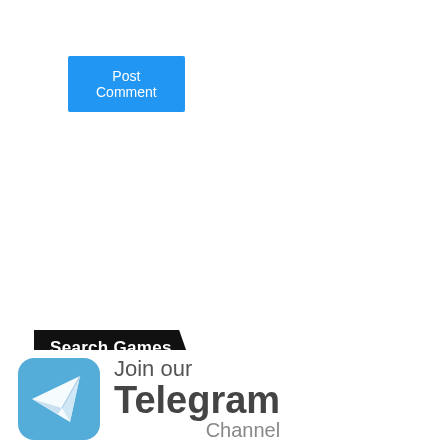Post Comment
Search Games
Search ...
Search
[Figure (logo): Join our Telegram Channel promotional banner with Telegram paper plane logo icon on a blue rounded square background, with text 'Join our Telegram Channel']